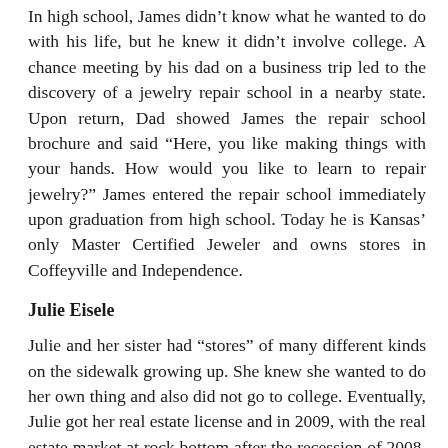In high school, James didn't know what he wanted to do with his life, but he knew it didn't involve college. A chance meeting by his dad on a business trip led to the discovery of a jewelry repair school in a nearby state. Upon return, Dad showed James the repair school brochure and said “Here, you like making things with your hands. How would you like to learn to repair jewelry?” James entered the repair school immediately upon graduation from high school. Today he is Kansas’ only Master Certified Jeweler and owns stores in Coffeyville and Independence.
Julie Eisele
Julie and her sister had “stores” of many different kinds on the sidewalk growing up. She knew she wanted to do her own thing and also did not go to college. Eventually, Julie got her real estate license and in 2009, with the real estate market at rock bottom after the recession of 2008, Julie and husband George bought Midwest Real Estate. With no prior experience at running a business, Julie learned as she went. She often trusts her gut instincts when making decisions. Julie is a non-competing broker; she does not compete with the agents within her company. She